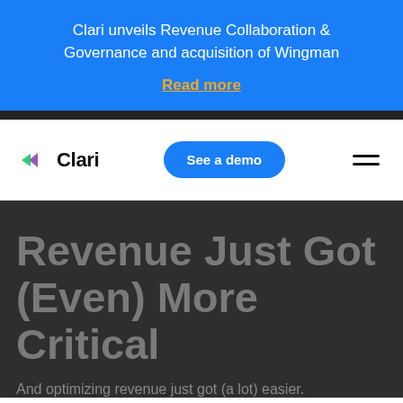Clari unveils Revenue Collaboration & Governance and acquisition of Wingman
Read more
[Figure (logo): Clari logo with colorful arrow icon and 'Clari' wordmark]
See a demo
Revenue Just Got (Even) More Critical
And optimizing revenue just got (a lot) easier.